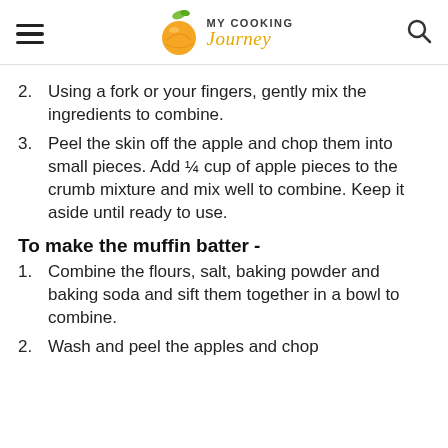MY COOKING Journey
2. Using a fork or your fingers, gently mix the ingredients to combine.
3. Peel the skin off the apple and chop them into small pieces. Add ¼ cup of apple pieces to the crumb mixture and mix well to combine. Keep it aside until ready to use.
To make the muffin batter -
1. Combine the flours, salt, baking powder and baking soda and sift them together in a bowl to combine.
2. Wash and peel the apples and chop